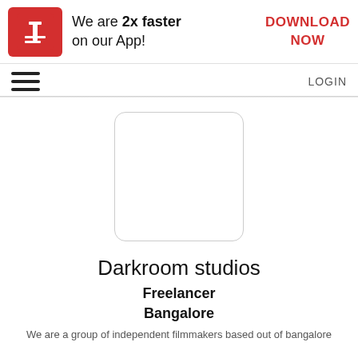[Figure (logo): Red rounded square logo with white letter 't' and horizontal lines, followed by text 'We are 2x faster on our App!' and red 'DOWNLOAD NOW' button on the right]
[Figure (other): Hamburger menu icon (three horizontal lines) on the left, LOGIN text on the right]
[Figure (other): Empty white rounded rectangle placeholder for profile image]
Darkroom studios
Freelancer
Bangalore
We are a group of independent filmmakers based out of bangalore